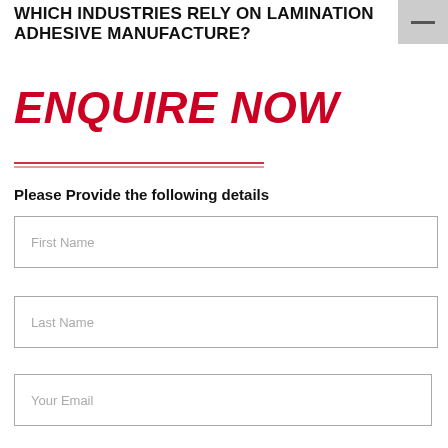WHICH INDUSTRIES RELY ON LAMINATION ADHESIVE MANUFACTURE?
ENQUIRE NOW
Please Provide the following details
First Name
Last Name
Your Email